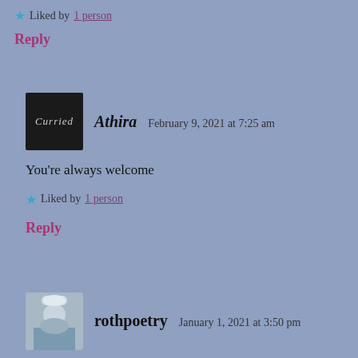Liked by 1 person
Reply
Athira  February 9, 2021 at 7:25 am
You're always welcome
Liked by 1 person
Reply
rothpoetry  January 1, 2021 at 3:50 pm
A wonderful poem about a sad commentary on our society. Your message is clear and very good!